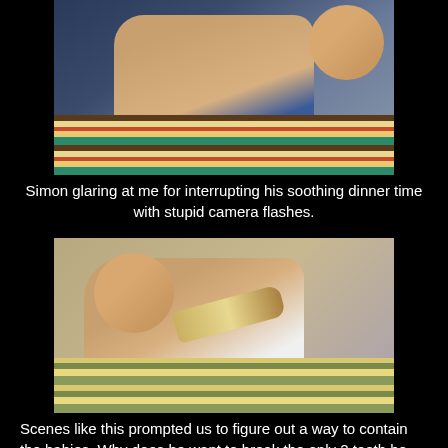[Figure (photo): Baby lying on a striped pillow drinking from a bottle, looking at the camera]
Simon glaring at me for interrupting his soothing dinner time with stupid camera flashes.
[Figure (photo): Baby lying on a striped pillow holding a bottle, looking at the camera]
Scenes like this prompted us to figure out a way to contain the babies. Why does he want to break the only 2 teeth he